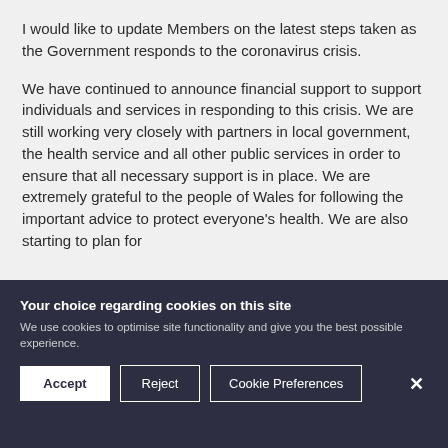I would like to update Members on the latest steps taken as the Government responds to the coronavirus crisis.
We have continued to announce financial support to support individuals and services in responding to this crisis. We are still working very closely with partners in local government, the health service and all other public services in order to ensure that all necessary support is in place. We are extremely grateful to the people of Wales for following the important advice to protect everyone's health. We are also starting to plan for
Your choice regarding cookies on this site
We use cookies to optimise site functionality and give you the best possible experience.